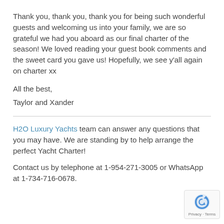Thank you, thank you, thank you for being such wonderful guests and welcoming us into your family, we are so grateful we had you aboard as our final charter of the season! We loved reading your guest book comments and the sweet card you gave us! Hopefully, we see y'all again on charter xx
All the best,
Taylor and Xander
H2O Luxury Yachts team can answer any questions that you may have. We are standing by to help arrange the perfect Yacht Charter!
Contact us by telephone at 1-954-271-3005 or WhatsApp at 1-734-716-0678.